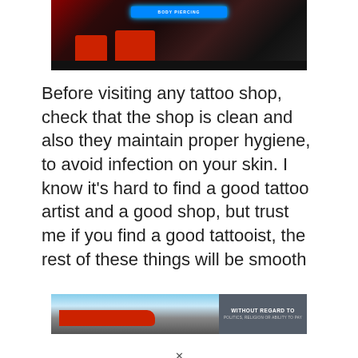[Figure (photo): Interior of a tattoo shop with red chairs/furniture, neon blue sign on the wall, dark ambiance with various decorations]
Before visiting any tattoo shop, check that the shop is clean and also they maintain proper hygiene, to avoid infection on your skin. I know it's hard to find a good tattoo artist and a good shop, but trust me if you find a good tattooist, the rest of these things will be smooth
[Figure (photo): Advertisement banner showing an airplane being loaded on a tarmac with text 'WITHOUT REGARD TO POLITICS, RELIGION OR ABILITY TO PAY' on a dark gray box to the right]